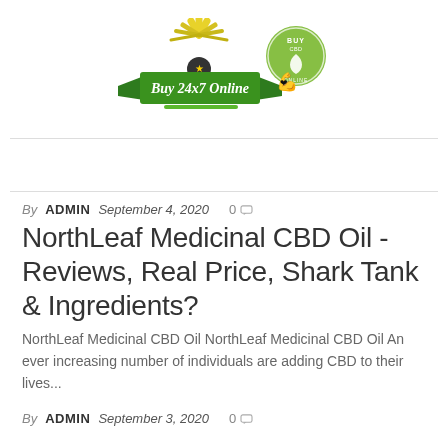[Figure (logo): Buy 24x7 Online logo with green ribbon banner, yellow sunburst rays, black heart with star, and circular green CBD badge]
By ADMIN   September 4, 2020   0
NorthLeaf Medicinal CBD Oil -Reviews, Real Price, Shark Tank & Ingredients?
NorthLeaf Medicinal CBD Oil NorthLeaf Medicinal CBD Oil An ever increasing number of individuals are adding CBD to their lives...
By ADMIN   September 3, 2020   0